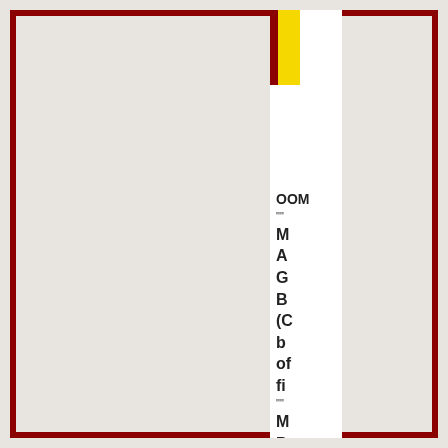[Figure (other): Book spine view rotated 90 degrees. White spine with dark red and yellow accent strips at top. Text reads: BOOM "" M A G B B ( C b o fi "" M P B IS :8 Pr :G Be Pa :G Be Bi]
BOOM
""
MAGB B(C bo fi
""
MPB
IS :8
Pr :G
Be
Pa :G
Be
Bi